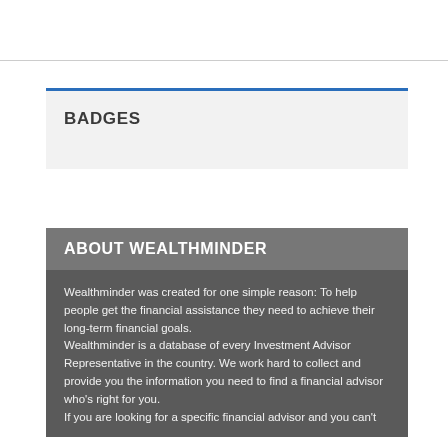BADGES
ABOUT WEALTHMINDER
Wealthminder was created for one simple reason: To help people get the financial assistance they need to achieve their long-term financial goals.
Wealthminder is a database of every Investment Advisor Representative in the country. We work hard to collect and provide you the information you need to find a financial advisor who’s right for you.
If you are looking for a specific financial advisor and you can’t